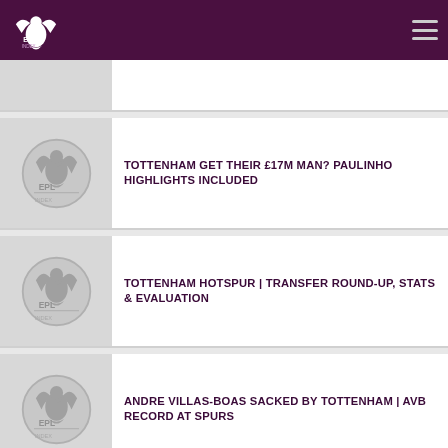EPL Index
[Figure (logo): EPL Index logo - white eagle with text on dark purple background]
TOTTENHAM GET THEIR £17M MAN? PAULINHO HIGHLIGHTS INCLUDED
TOTTENHAM HOTSPUR | TRANSFER ROUND-UP, STATS & EVALUATION
ANDRE VILLAS-BOAS SACKED BY TOTTENHAM | AVB RECORD AT SPURS